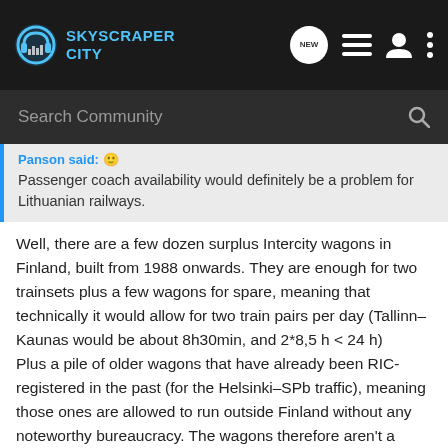SKYSCRAPER CITY
Panson said:
Passenger coach availability would definitely be a problem for Lithuanian railways.
Well, there are a few dozen surplus Intercity wagons in Finland, built from 1988 onwards. They are enough for two trainsets plus a few wagons for spare, meaning that technically it would allow for two train pairs per day (Tallinn–Kaunas would be about 8h30min, and 2*8,5 h < 24 h)
Plus a pile of older wagons that have already been RIC-registered in the past (for the Helsinki–SPb traffic), meaning those ones are allowed to run outside Finland without any noteworthy bureaucracy. The wagons therefore aren't a problem, only locomotives might be. And since TEP70 exist in reasonable amounts, even that isn't a problem. It would apparently be possible to launch such a train within a few